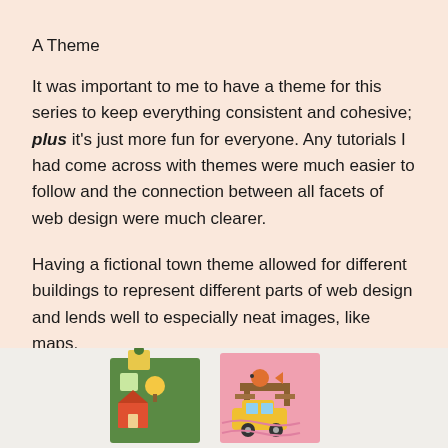A Theme
It was important to me to have a theme for this series to keep everything consistent and cohesive; plus it's just more fun for everyone. Any tutorials I had come across with themes were much easier to follow and the connection between all facets of web design were much clearer.
Having a fictional town theme allowed for different buildings to represent different parts of web design and lends well to especially neat images, like maps.
[Figure (illustration): Colorful illustrated town scene with buildings, trees, a lighthouse-style tower, a car, and a picnic table on a pink background]